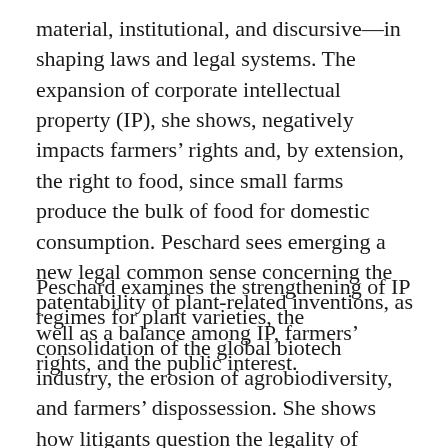material, institutional, and discursive—in shaping laws and legal systems. The expansion of corporate intellectual property (IP), she shows, negatively impacts farmers' rights and, by extension, the right to food, since small farms produce the bulk of food for domestic consumption. Peschard sees emerging a new legal common sense concerning the patentability of plant-related inventions, as well as a balance among IP, farmers' rights, and the public interest.
Peschard examines the strengthening of IP regimes for plant varieties, the consolidation of the global biotech industry, the erosion of agrobiodiversity, and farmers' dispossession. She shows how litigants question the legality of patents and private IP systems implemented by Monsanto for royalties on three genetically modified crop varieties, Roundup Ready soybean in Brazil and Bt cotton and Bt